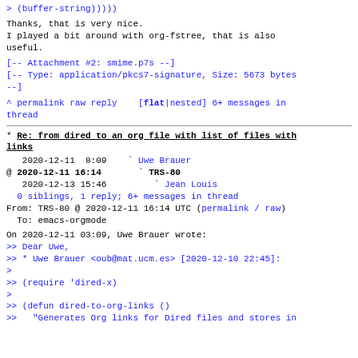>         (buffer-string)))))
Thanks, that is very nice.
I played a bit around with org-fstree, that is also useful.
[-- Attachment #2: smime.p7s --]
[-- Type: application/pkcs7-signature, Size: 5673 bytes --]
^ permalink raw reply   [flat|nested] 6+ messages in thread
* Re: from dired to an org file with list of files with links
2020-12-11  8:09    ` Uwe Brauer
@ 2020-12-11 16:14      ` TRS-80
   2020-12-13 15:46        ` Jean Louis
  0 siblings, 1 reply; 6+ messages in thread
From: TRS-80 @ 2020-12-11 16:14 UTC (permalink / raw)
  To: emacs-orgmode
On 2020-12-11 03:09, Uwe Brauer wrote:
>> Dear Uwe,
>> * Uwe Brauer <oub@mat.ucm.es> [2020-12-10 22:45]:
>
>> (require 'dired-x)
>
>> (defun dired-to-org-links ()
>>   "Generates Org links for Dired files and stores in